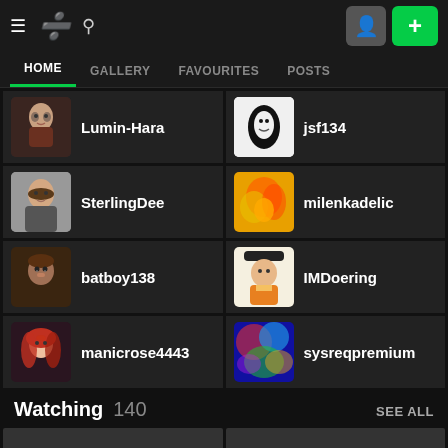DeviantArt navigation bar with hamburger menu, DA logo, search icon, profile button, and + button
HOME | GALLERY | FAVOURITES | POSTS
Lumin-Hara
jsf134
SterlingDee
milenkadelic
batboy138
IMDoering
manicrose4443
sysreqpremium
Watching 140
SEE ALL